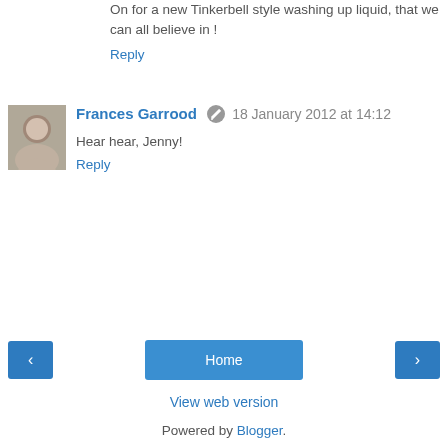On for a new Tinkerbell style washing up liquid, that we can all believe in !
Reply
Frances Garrood  18 January 2012 at 14:12
Hear hear, Jenny!
Reply
Home
View web version
Powered by Blogger.